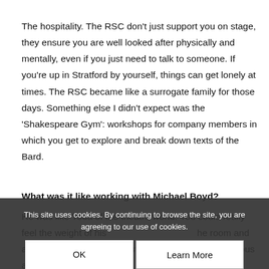The hospitality. The RSC don't just support you on stage, they ensure you are well looked after physically and mentally, even if you just need to talk to someone. If you're up in Stratford by yourself, things can get lonely at times. The RSC became like a surrogate family for those days. Something else I didn't expect was the 'Shakespeare Gym': workshops for company members in which you get to explore and break down texts of the Bard.
What was it like working with Michael Boyd?
He was like Yoda of the theatre world. You could really feel the weight of his [presence in] the room and all you wanted to do was listen. He's incredibly generous and receptive to
This site uses cookies. By continuing to browse the site, you are agreeing to our use of cookies.